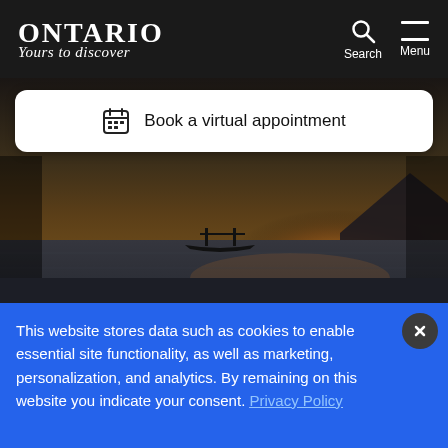Ontario Yours to Discover — Search Menu
[Figure (screenshot): Hero image showing a lake at sunset with a boat silhouette on calm water reflecting golden light, with a 'Book a virtual appointment' widget overlaid at the top]
Explore Ontario
Explore Cities & Towns...
This website stores data such as cookies to enable essential site functionality, as well as marketing, personalization, and analytics. By remaining on this website you indicate your consent. Privacy Policy